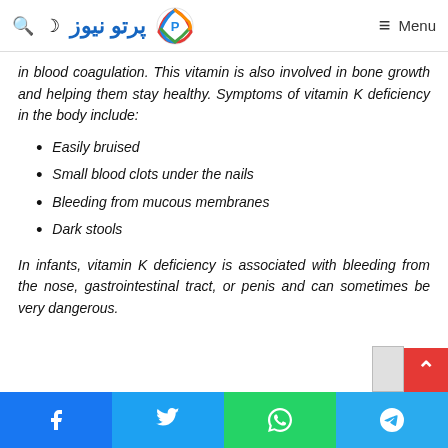پرتو نیوز — Menu
in blood coagulation. This vitamin is also involved in bone growth and helping them stay healthy. Symptoms of vitamin K deficiency in the body include:
Easily bruised
Small blood clots under the nails
Bleeding from mucous membranes
Dark stools
In infants, vitamin K deficiency is associated with bleeding from the nose, gastrointestinal tract, or penis and can sometimes be very dangerous.
Facebook | Twitter | WhatsApp | Telegram